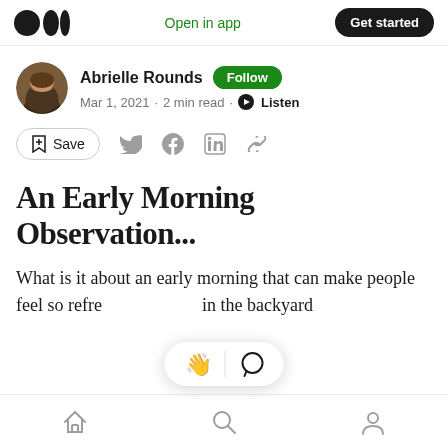Open in app | Get started
Abrielle Rounds · Follow · Mar 1, 2021 · 2 min read · Listen
Save
An Early Morning Observation...
What is it about an early morning that can make people feel so refre... in the backyard
Home · Search · Profile